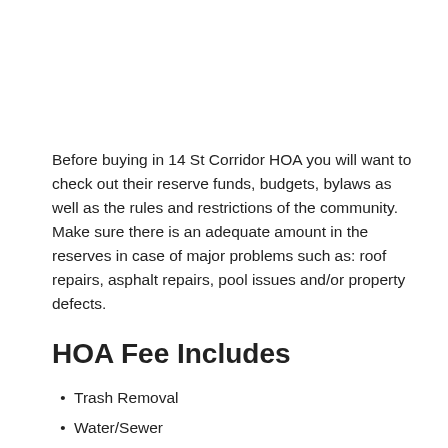Before buying in 14 St Corridor HOA you will want to check out their reserve funds, budgets, bylaws as well as the rules and restrictions of the community. Make sure there is an adequate amount in the reserves in case of major problems such as: roof repairs, asphalt repairs, pool issues and/or property defects.
HOA Fee Includes
Trash Removal
Water/Sewer